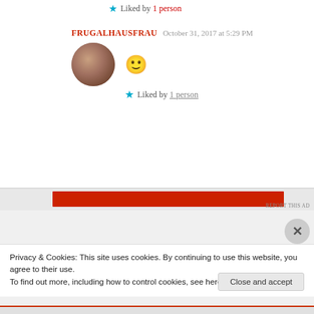Liked by 1 person
FRUGALHAUSFRAU  October 31, 2017 at 5:29 PM
[Figure (photo): Circular avatar photo of a woman with glasses and reddish-brown hair]
🙂
Liked by 1 person
[Figure (other): Red advertisement banner with REPORT THIS AD label]
Privacy & Cookies: This site uses cookies. By continuing to use this website, you agree to their use.
To find out more, including how to control cookies, see here: Cookie Policy
Close and accept